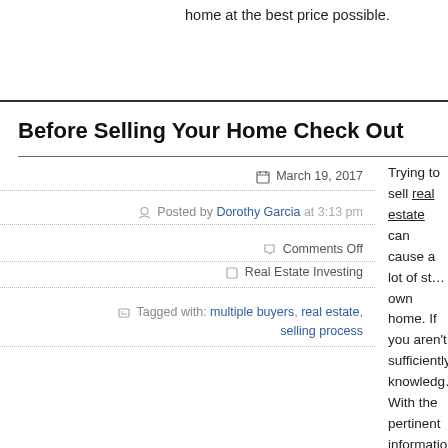home at the best price possible.
Before Selling Your Home Check Out
March 19, 2017
Posted by Dorothy Garcia at 3:13 pm
Comments Off
Real Estate Investing
Tagged with: multiple buyers, real estate, selling process
Trying to sell real estate can cause a lot of st... own home. If you aren't sufficiently knowledg... With the pertinent information and knowledge... in the selling process. This article offers a var... understand what is involved in real estate tra...
Always have your air conditioner and heater s... market. Most buyers are not willing to make a... cooling system after purchasing a piece of pr...
When selling your home, you need to act in p... always want answers about something. One...